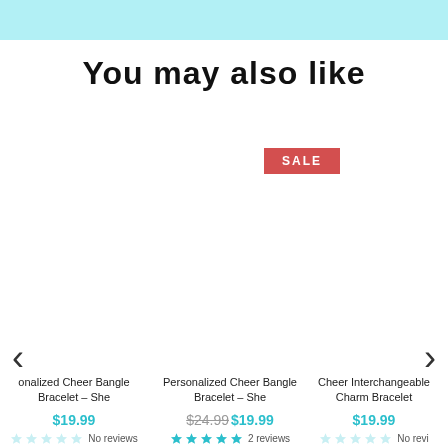[Figure (other): Light blue banner at the top of the page]
You may also like
SALE badge (red background, white text)
< navigation arrow (left)
> navigation arrow (right)
onalized Cheer Bangle Bracelet - She
$19.99
No reviews
Personalized Cheer Bangle Bracelet - She
$24.99 $19.99
2 reviews
Cheer Interchangeable Charm Bracelet
$19.99
No reviews